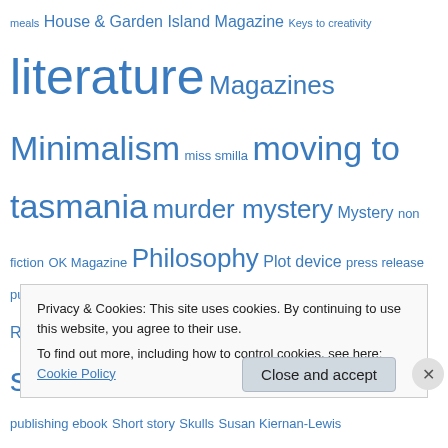meals House & Garden Island Magazine Keys to creativity literature Magazines Minimalism miss smilla moving to tasmania murder mystery Mystery non fiction OK Magazine Philosophy Plot device press release publishing publishing a book Reading Richard Flanagan Running Salamanca Arts Centre Scanner self-publishing Self-publishing an ebook Self-publishing ebook Short story Skulls Susan Kiernan-Lewis Tasmania Tetsuya Tinderbox Titanic conspiracy theory Travel Twin Peaks Undercurrent val mcdermid Writing Writing a book Writing a crime novel Writing a novel Writing process Zen
Privacy & Cookies: This site uses cookies. By continuing to use this website, you agree to their use.
To find out more, including how to control cookies, see here: Cookie Policy
Close and accept